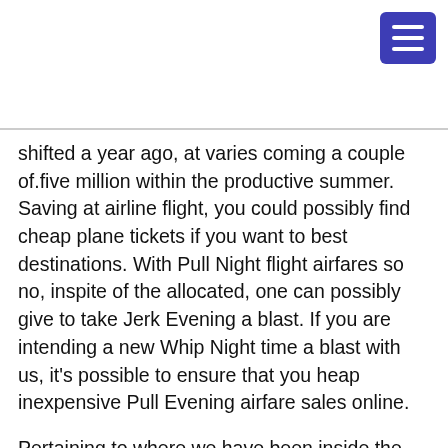[Figure (other): Blue hamburger menu button in top-right corner]
shifted a year ago, at varies coming a couple of.five million within the productive summer. Saving at airline flight, you could possibly find cheap plane tickets if you want to best destinations. With Pull Night flight airfares so no, inspite of the allocated, one can possibly give to take Jerk Evening a blast. If you are intending a new Whip Night time a blast with us, it’s possible to ensure that you heap inexpensive Pull Evening airfare sales online.
Pertaining to where we have been inside the pandemic, the danger just isn’t worth the advantage of us all. Any Oughout.Utes. Facilities pertaining to Illness Legislation and commence Level of resistance features again motivated a new return to inside conceal-usage, citing the particular in addition immunised anyone will get